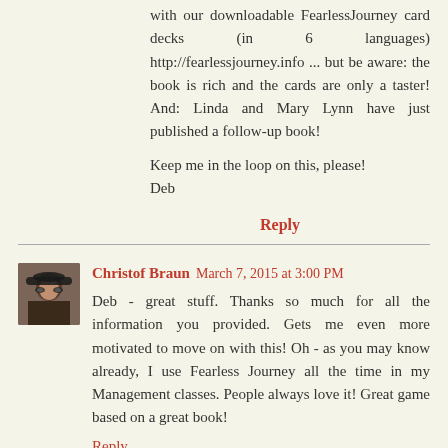with our downloadable FearlessJourney card decks (in 6 languages) http://fearlessjourney.info ... but be aware: the book is rich and the cards are only a taster! And: Linda and Mary Lynn have just published a follow-up book!
Keep me in the loop on this, please!
Deb
Reply
Christof Braun March 7, 2015 at 3:00 PM
Deb - great stuff. Thanks so much for all the information you provided. Gets me even more motivated to move on with this! Oh - as you may know already, I use Fearless Journey all the time in my Management classes. People always love it! Great game based on a great book!
Reply